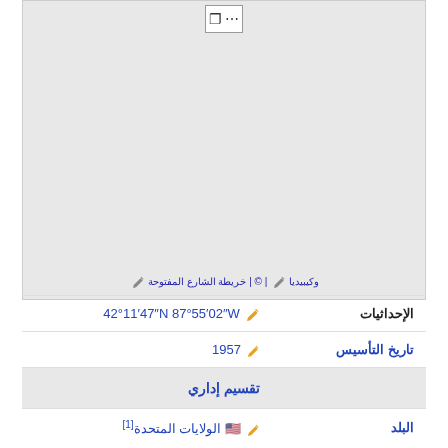[Figure (map): Map area (partially visible, cropped at top). Shows geographic map region.]
وكيبيديا | © | خريطة الشارع المفتوحة
| الإحداثيات | 42°11′47″N 87°55′02″W |
| تاريخ التأسيس | 1957 |
| تقسيم إداري |  |
| البلد | 🇺🇸 الولايات المتحدة [1] |